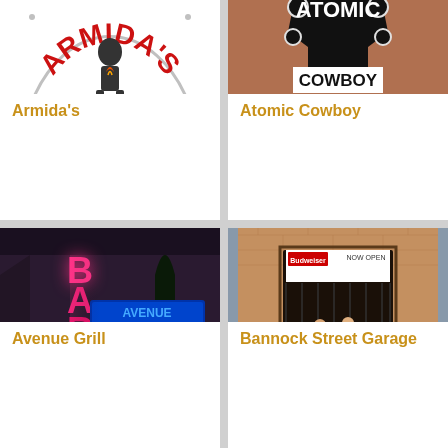[Figure (logo): Armida's restaurant logo showing a woman figure with decorative arch and flame, red text reading ARMIDA'S]
Armida's
[Figure (photo): Atomic Cowboy sign painted on brick wall - black rocket/cowboy shape with white banner reading COWBOY and ATOMIC text]
Atomic Cowboy
[Figure (photo): Avenue Grill bar with neon signs reading BAR and AVENUE GRILL at night]
Avenue Grill
[Figure (photo): Bannock Street Garage storefront with NOW OPEN banner, two people sitting at entrance]
Bannock Street Garage